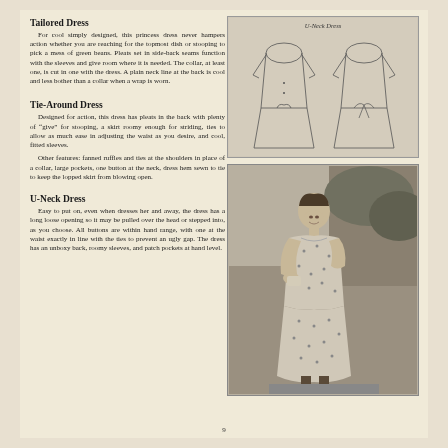Tailored Dress
For cool simply designed, this princess dress never hampers action whether you are reaching for the topmost dish or stooping to pick a mess of green beans. Pleats set in side-back seams function with the sleeves and give room where it is needed. The collar, at least one, is cut in one with the dress. A plain neck line at the back is cool and less bother than a collar when a wrap is worn.
[Figure (illustration): Line drawing illustration of U-Neck Dress showing front and back views of a dress with bow at waist]
Tie-Around Dress
Designed for action, this dress has pleats in the back with plenty of "give" for stooping, a skirt roomy enough for striding, ties to allow as much ease in adjusting the waist as you desire, and cool, fitted sleeves.
Other features: fanned ruffles and ties at the shoulders in place of a collar, large pockets, one button at the neck, dress hem sewn to tie to keep the lopped skirt from blowing open.
[Figure (photo): Black and white photograph of a woman wearing a tie-around dress, looking down at something in her hands, outdoors with trees in background]
U-Neck Dress
Easy to put on, even when dresses her and away, the dress has a long loose opening so it may be pulled over the head or stepped into, as you choose. All buttons are within hand range, with one at the waist exactly in line with the ties to prevent an ugly gap. The dress has an unboxy back, roomy sleeves, and patch pockets at hand level.
9